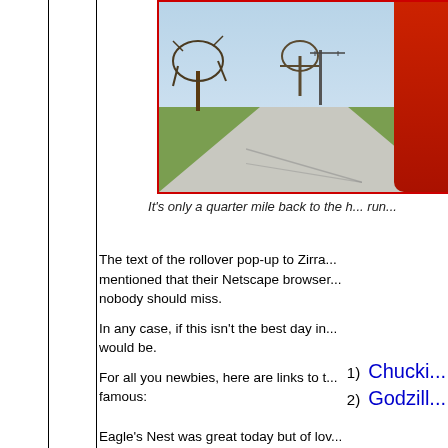[Figure (photo): A rural road stretching into the distance with bare oak trees on the sides, a telephone pole, and a person in a red jacket visible on the right edge. Blue sky background.]
It's only a quarter mile back to the h... run...
The text of the rollover pop-up to Zirra... mentioned that their Netscape browser... nobody should miss.
In any case, if this isn't the best day in... would be.
For all you newbies, here are links to t... famous:
1)  Chucki...
2)  Godzill...
Eagle's Nest was great today but of lov...